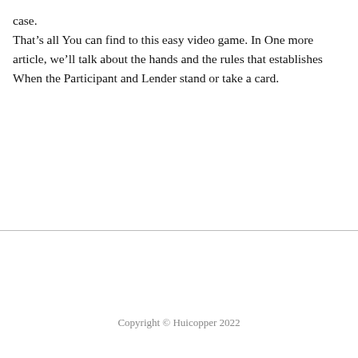case.
That’s all You can find to this easy video game. In One more article, we’ll talk about the hands and the rules that establishes When the Participant and Lender stand or take a card.
Copyright © Huicopper 2022